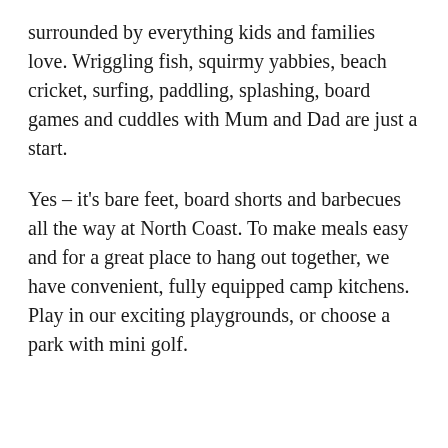surrounded by everything kids and families love. Wriggling fish, squirmy yabbies, beach cricket, surfing, paddling, splashing, board games and cuddles with Mum and Dad are just a start.
Yes – it's bare feet, board shorts and barbecues all the way at North Coast. To make meals easy and for a great place to hang out together, we have convenient, fully equipped camp kitchens. Play in our exciting playgrounds, or choose a park with mini golf.